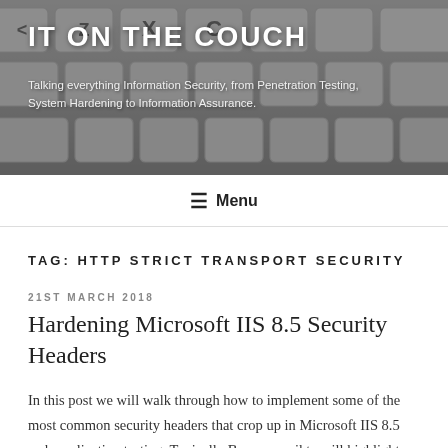[Figure (photo): Header banner with keyboard keys in the background (close-up of keyboard), with blog site title and tagline overlaid in white text on a dark semi-transparent overlay.]
IT ON THE COUCH
Talking everything Information Security, from Penetration Testing, System Hardening to Information Assurance.
≡ Menu
TAG: HTTP STRICT TRANSPORT SECURITY
21ST MARCH 2018
Hardening Microsoft IIS 8.5 Security Headers
In this post we will walk through how to implement some of the most common security headers that crop up in Microsoft IIS 8.5 web application testing. Typically Burp, zap nikto will highlight missing security headers. I have